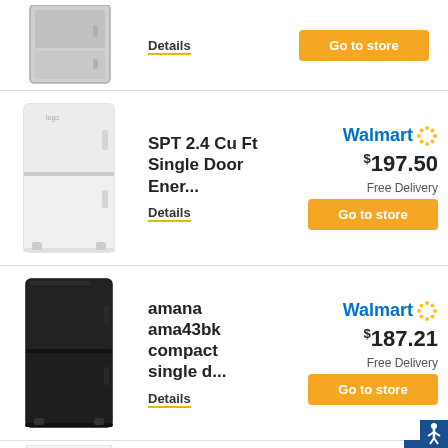[Figure (photo): Partial view of a silver/grey compact refrigerator at top of page (cropped)]
Details
Go to store
[Figure (photo): White single-door compact refrigerator]
SPT 2.4 Cu Ft Single Door Ener...
Details
Walmart $197.50 Free Delivery Go to store
[Figure (photo): Black compact single door refrigerator]
amana ama43bk compact single d...
Details
Walmart $187.21 Free Delivery Go to store
[Figure (photo): Partial view of a white compact refrigerator (Midea), cropped at bottom]
Midea 1.6 Cu
Walmart